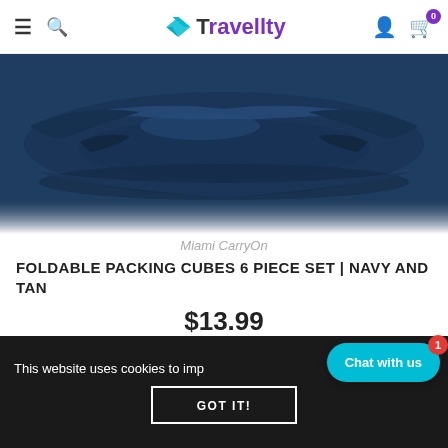Travellty
[Figure (photo): Folded navy blue fabric packing cubes against white background]
Miami CarryOn
FOLDABLE PACKING CUBES 6 PIECE SET | NAVY AND TAN
$13.99
This website uses cookies to imp
Chat with us
GOT IT!